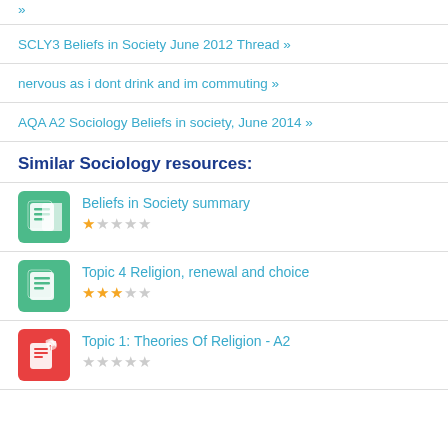» (truncated link at top)
SCLY3 Beliefs in Society June 2012 Thread »
nervous as i dont drink and im commuting »
AQA A2 Sociology Beliefs in society, June 2014 »
Similar Sociology resources:
Beliefs in Society summary — ★☆☆☆☆
Topic 4 Religion, renewal and choice — ★★★☆☆
Topic 1: Theories Of Religion - A2 — ★☆☆☆☆